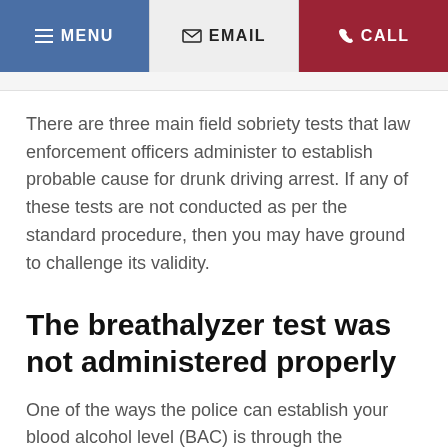MENU  EMAIL  CALL
There are three main field sobriety tests that law enforcement officers administer to establish probable cause for drunk driving arrest. If any of these tests are not conducted as per the standard procedure, then you may have ground to challenge its validity.
The breathalyzer test was not administered properly
One of the ways the police can establish your blood alcohol level (BAC) is through the